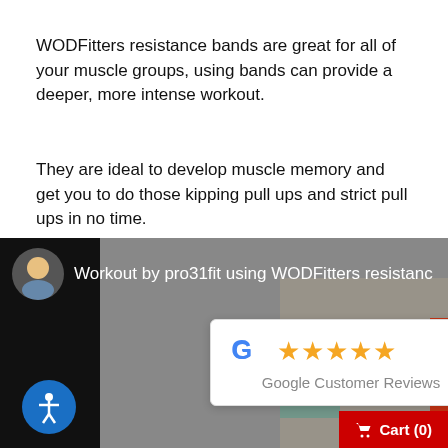WODFitters resistance bands are great for all of your muscle groups, using bands can provide a deeper, more intense workout.
They are ideal to develop muscle memory and get you to do those kipping pull ups and strict pull ups in no time.
Get yours today. Workout anywhere, everywhere with #wodfittersresistanceband
[Figure (screenshot): Video thumbnail showing a person doing a resistance band workout, with title 'Workout by pro31fit using WODFitters resistance band', a Google Customer Reviews popup with 5 stars, an accessibility button, and a cart button.]